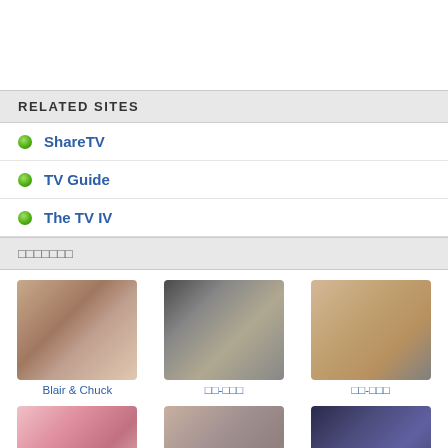RELATED SITES
ShareTV
TV Guide
The TV IV
□□□□□□□
[Figure (photo): Blair & Chuck couple photo]
Blair & Chuck
[Figure (photo): Japanese character person photo]
□□-□□□
[Figure (photo): Japanese character person photo]
□□-□□□
[Figure (photo): Japanese character person photo with pink hair]
□□□-□□□
[Figure (photo): Japanese character person photo]
□□□-□□□□□
[Figure (photo): Chuck photo]
Chuck □□
[Figure (photo): Person photo bottom row]
[Figure (photo): Person photo bottom row]
[Figure (photo): Person photo bottom row]